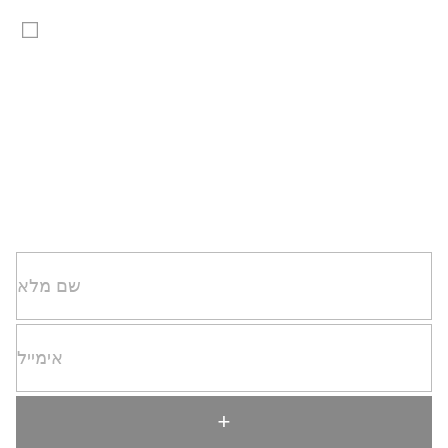[Figure (other): Small empty checkbox in top-left corner]
שם מלא
אימייל
+